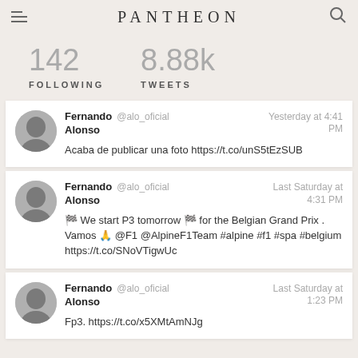PANTHEON
142 FOLLOWING
8.88k TWEETS
Fernando Alonso @alo_oficial Yesterday at 4:41 PM
Acaba de publicar una foto https://t.co/unS5tEzSUB
Fernando Alonso @alo_oficial Last Saturday at 4:31 PM
🏁 We start P3 tomorrow 🏁 for the Belgian Grand Prix . Vamos 🙏 @F1 @AlpineF1Team #alpine #f1 #spa #belgium https://t.co/SNoVTigwUc
Fernando Alonso @alo_oficial Last Saturday at 1:23 PM
Fp3. https://t.co/x5XMtAmNJg